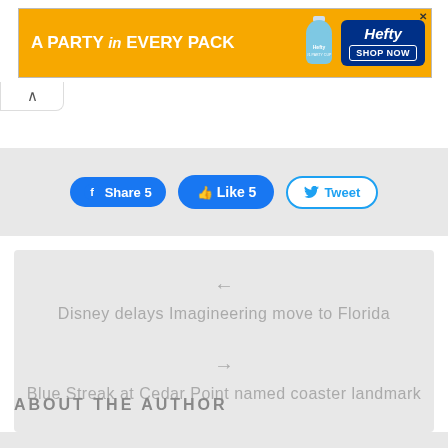[Figure (other): Hefty brand advertisement banner: orange background with text 'A PARTY in EVERY PACK', Hefty bottle image, and Hefty logo with 'SHOP NOW' button]
[Figure (other): Social media share bar with Facebook Share 5, Like 5, and Tweet buttons on gray background]
Disney delays Imagineering move to Florida
Blue Streak at Cedar Point named coaster landmark
ABOUT THE AUTHOR